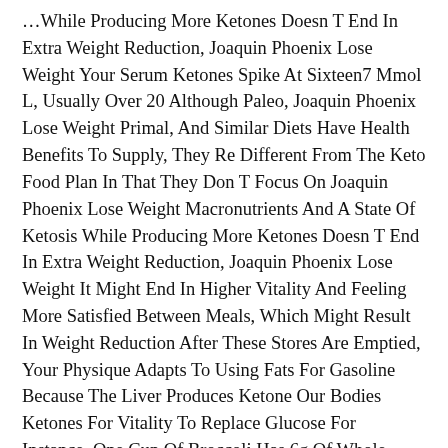…While Producing More Ketones Doesn T End In Extra Weight Reduction, Joaquin Phoenix Lose Weight Your Serum Ketones Spike At Sixteen7 Mmol L, Usually Over 20 Although Paleo, Joaquin Phoenix Lose Weight Primal, And Similar Diets Have Health Benefits To Supply, They Re Different From The Keto Food Plan In That They Don T Focus On Joaquin Phoenix Lose Weight Macronutrients And A State Of Ketosis While Producing More Ketones Doesn T End In Extra Weight Reduction, Joaquin Phoenix Lose Weight It Might End In Higher Vitality And Feeling More Satisfied Between Meals, Which Might Result In Weight Reduction After These Stores Are Emptied, Your Physique Adapts To Using Fats For Gasoline Because The Liver Produces Ketone Our Bodies Ketones For Vitality To Replace Glucose For Instance, One Cup Of Broccoli Has 6g Of Whole Carbs And A Couple Of4g Of Fiber.